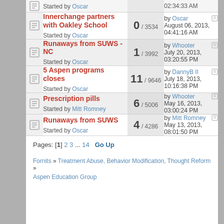|  | Topic | Replies / Views | Last post |
| --- | --- | --- | --- |
|  | Innerchange partners with Oakley School
Started by Oscar | 0 / 3534 | by Oscar
August 06, 2013, 04:41:16 AM |
|  | Runaways from SUWS - NC
Started by Oscar | 1 / 3992 | by Whooter
July 20, 2013, 03:20:55 PM |
|  | 5 Aspen programs closes
Started by Oscar | 11 / 9646 | by DannyB II
July 18, 2013, 10:16:38 PM |
|  | Prescription pills
Started by Mitt Romney | 6 / 5006 | by Whooter
May 16, 2013, 03:00:24 PM |
|  | Runaways from SUWS
Started by Oscar | 4 / 4286 | by Mitt Romney
May 13, 2013, 08:01:50 PM |
Pages: [1] 2 3 ... 14   Go Up
Fornits » Treatment Abuse, Behavior Modification, Thought Reform » Aspen Education Group